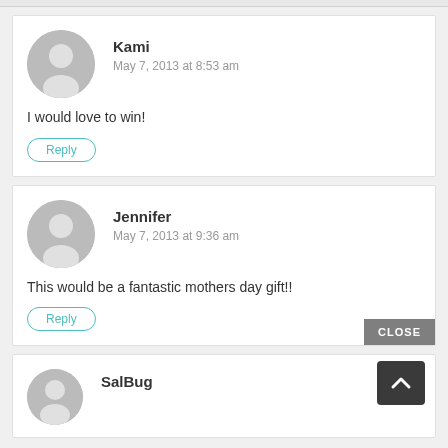Kami
May 7, 2013 at 8:53 am
I would love to win!
Reply
Jennifer
May 7, 2013 at 9:36 am
This would be a fantastic mothers day gift!!
Reply
CLOSE
SalBug